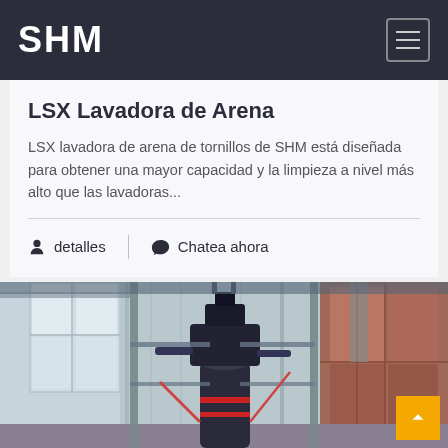SHM
LSX Lavadora de Arena
LSX lavadora de arena de tornillos de SHM está diseñada para obtener una mayor capacidad y la limpieza a nivel más alto que las lavadoras...
detalles   Chatea ahora
[Figure (photo): Industrial sand washing machine (LSX screw sand washer) inside a large factory/warehouse facility. The machine is a tall cylindrical dark-colored unit with mechanical components on top, surrounded by scaffolding and industrial infrastructure.]